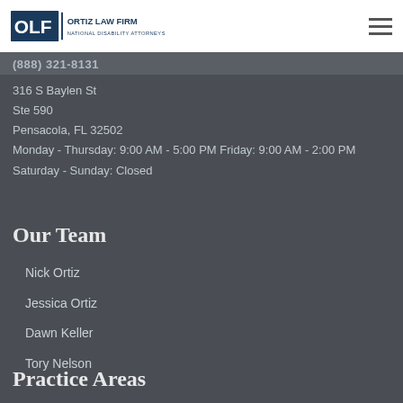OLF | ORTIZ LAW FIRM NATIONAL DISABILITY ATTORNEYS
(888) 321-8131
316 S Baylen St
Ste 590
Pensacola, FL 32502
Monday - Thursday: 9:00 AM - 5:00 PM Friday: 9:00 AM - 2:00 PM
Saturday - Sunday: Closed
Our Team
Nick Ortiz
Jessica Ortiz
Dawn Keller
Tory Nelson
Practice Areas